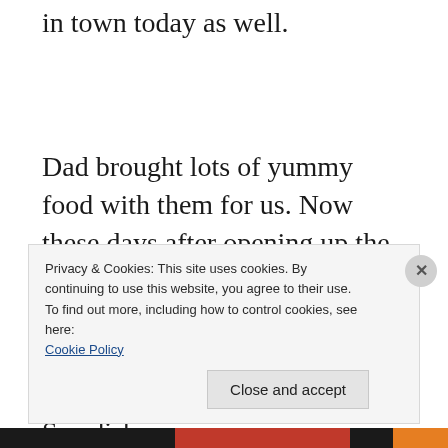in town today as well.
Dad brought lots of yummy food with them for us. Now these days after opening up the shop we stay in Scotland for the holidays and have started to create our own traditions. I am not ready to give up any kind of Swedish
Privacy & Cookies: This site uses cookies. By continuing to use this website, you agree to their use.
To find out more, including how to control cookies, see here:
Cookie Policy

Close and accept